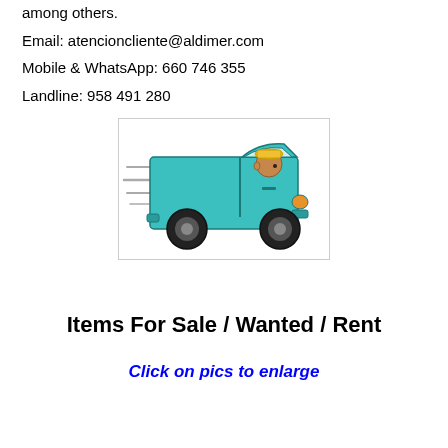among others.
Email: atencioncliente@aldimer.com
Mobile & WhatsApp: 660 746 355
Landline: 958 491 280
[Figure (illustration): Cartoon illustration of a blue delivery van speeding to the right, with a driver wearing a yellow cap visible through the window, and motion lines on the left side of the van indicating speed.]
Items For Sale / Wanted / Rent
Click on pics to enlarge